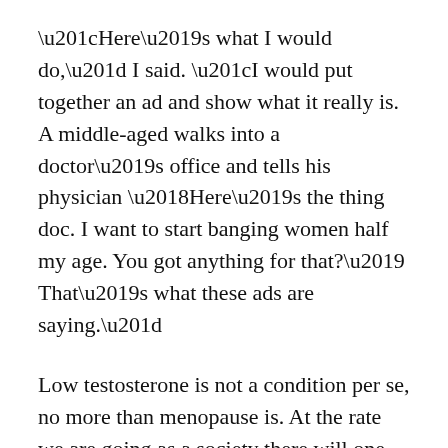“Here’s what I would do,” I said. “I would put together an ad and show what it really is. A middle-aged walks into a doctor’s office and tells his physician ‘Here’s the thing doc. I want to start banging women half my age. You got anything for that?’ That’s what these ads are saying.”
Low testosterone is not a condition per se, no more than menopause is. At the rate we are going as a society there will one be a pill to stave off death. Dying used to be a serious condition. But not any longer. But I digress.
Yes, I am a writer. And the only qualifications I have where psychiatry is concerned is that I